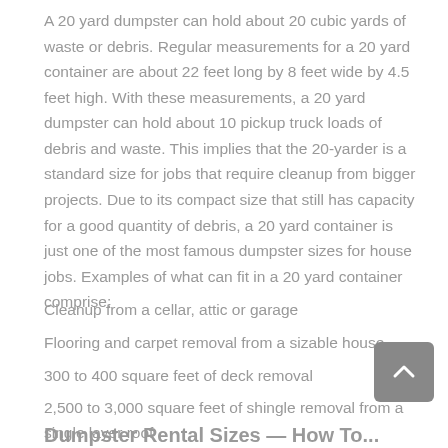A 20 yard dumpster can hold about 20 cubic yards of waste or debris. Regular measurements for a 20 yard container are about 22 feet long by 8 feet wide by 4.5 feet high. With these measurements, a 20 yard dumpster can hold about 10 pickup truck loads of debris and waste. This implies that the 20-yarder is a standard size for jobs that require cleanup from bigger projects. Due to its compact size that still has capacity for a good quantity of debris, a 20 yard container is just one of the most famous dumpster sizes for house jobs. Examples of what can fit in a 20 yard container comprise:
Cleanup from a cellar, attic or garage
Flooring and carpet removal from a sizable house
300 to 400 square feet of deck removal
2,500 to 3,000 square feet of shingle removal from a single layer roof
Dumpster Rental Sizes — How To...